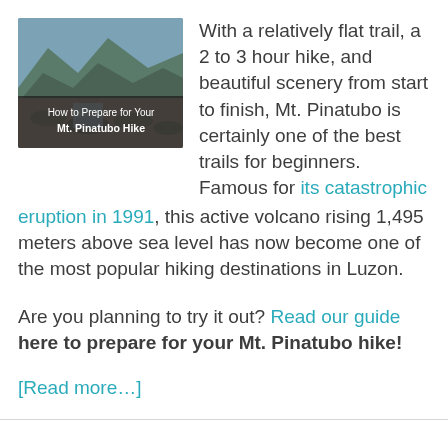[Figure (photo): Mountain landscape photo with rocky terrain and water, with a dark overlay at the bottom containing text 'How to Prepare for Your Mt. Pinatubo Hike']
With a relatively flat trail, a 2 to 3 hour hike, and beautiful scenery from start to finish, Mt. Pinatubo is certainly one of the best trails for beginners. Famous for its catastrophic eruption in 1991, this active volcano rising 1,495 meters above sea level has now become one of the most popular hiking destinations in Luzon.
Are you planning to try it out? Read our guide here to prepare for your Mt. Pinatubo hike!
[Read more...]